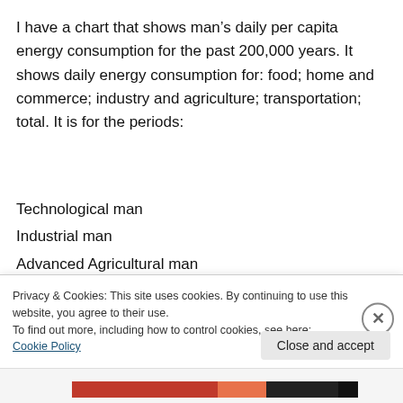I have a chart that shows man's daily per capita energy consumption for the past 200,000 years. It shows daily energy consumption for: food; home and commerce; industry and agriculture; transportation; total. It is for the periods:
Technological man
Industrial man
Advanced Agricultural man
Primitive Agricultural man
Hunting man
Privacy & Cookies: This site uses cookies. By continuing to use this website, you agree to their use.
To find out more, including how to control cookies, see here: Cookie Policy
Close and accept